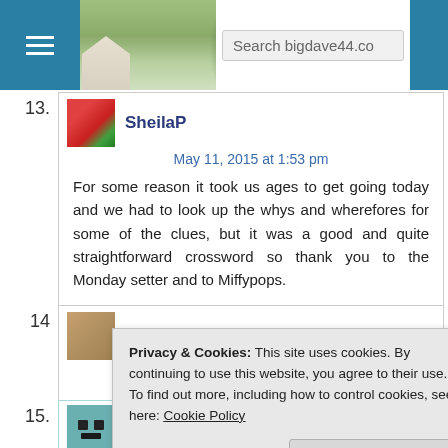Search bigdave44.co
13. SheilaP — May 11, 2015 at 1:53 pm — For some reason it took us ages to get going today and we had to look up the whys and wherefores for some of the clues, but it was a good and quite straightforward crossword so thank you to the Monday setter and to Miffypops.
14. [avatar] — [partial comment text]
Privacy & Cookies: This site uses cookies. By continuing to use this website, you agree to their use.
To find out more, including how to control cookies, see here: Cookie Policy
Close and accept
15. hilary